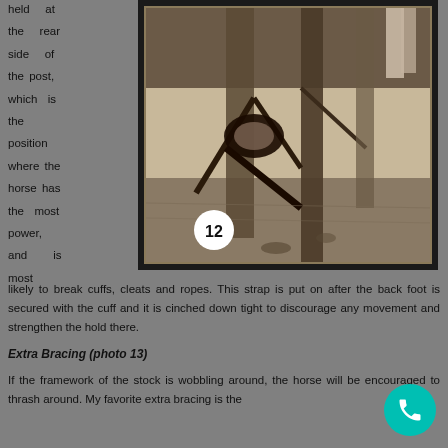held at the rear side of the post, which is the position where the horse has the most power, and is most
[Figure (photo): Black and white photograph showing horse restraint equipment at the base of a post, numbered 12]
likely to break cuffs, cleats and ropes. This strap is put on after the back foot is secured with the cuff and it is cinched down tight to discourage any movement and strengthen the hold there.
Extra Bracing (photo 13)
If the framework of the stock is wobbling around, the horse will be encouraged to thrash around. My favorite extra bracing is the